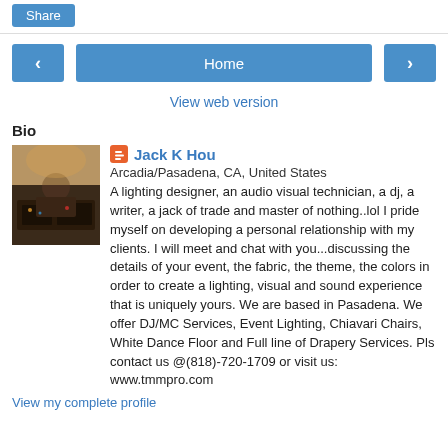Share
[Figure (screenshot): Navigation bar with left arrow, Home button, and right arrow buttons in blue]
View web version
Bio
[Figure (photo): Photo of a person at a DJ booth/mixing equipment in dim lighting]
Jack K Hou
Arcadia/Pasadena, CA, United States
A lighting designer, an audio visual technician, a dj, a writer, a jack of trade and master of nothing..lol I pride myself on developing a personal relationship with my clients. I will meet and chat with you...discussing the details of your event, the fabric, the theme, the colors in order to create a lighting, visual and sound experience that is uniquely yours. We are based in Pasadena. We offer DJ/MC Services, Event Lighting, Chiavari Chairs, White Dance Floor and Full line of Drapery Services. Pls contact us @(818)-720-1709 or visit us: www.tmmpro.com
View my complete profile